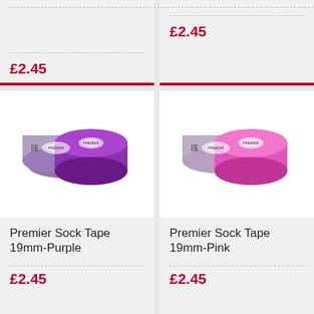£2.45
£2.45
[Figure (photo): Two rolls of Premier Sock Tape 19mm in purple color]
Premier Sock Tape 19mm-Purple
£2.45
[Figure (photo): Two rolls of Premier Sock Tape 19mm in pink color]
Premier Sock Tape 19mm-Pink
£2.45